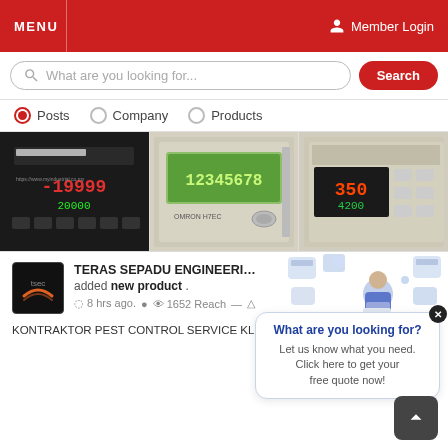MENU   Member Login
What are you looking for... Search
Posts  Company  Products
[Figure (photo): Three industrial counter/timer devices shown side by side: a black digital panel meter showing -19999 and 20000, a beige Omron H7EC counter showing 12345678, and a beige Omron temperature controller showing 350 and 4200]
TERAS SEPADU ENGINEERING & CO added new product .
8 hrs ago.   1652 Reach
KONTRAKTOR PEST CONTROL SERVICE KL SELANGOR BERDEKATAN
What are you looking for? Let us know what you need. Click here to get your free quote now!